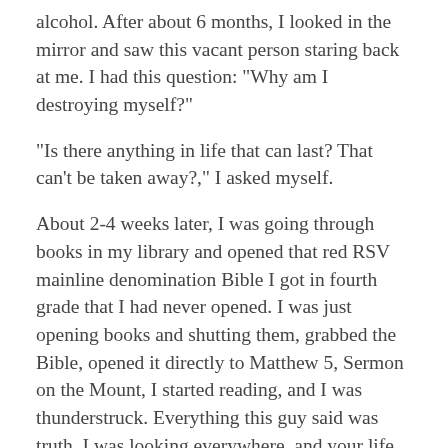alcohol. After about 6 months, I looked in the mirror and saw this vacant person staring back at me. I had this question: "Why am I destroying myself?"
"Is there anything in life that can last? That can't be taken away?," I asked myself.
About 2-4 weeks later, I was going through books in my library and opened that red RSV mainline denomination Bible I got in fourth grade that I had never opened. I was just opening books and shutting them, grabbed the Bible, opened it directly to Matthew 5, Sermon on the Mount, I started reading, and I was thunderstruck. Everything this guy said was truth. I was looking everywhere, and your life goes from bad to worse. The Enemy is a liar. After reading the Sermon on